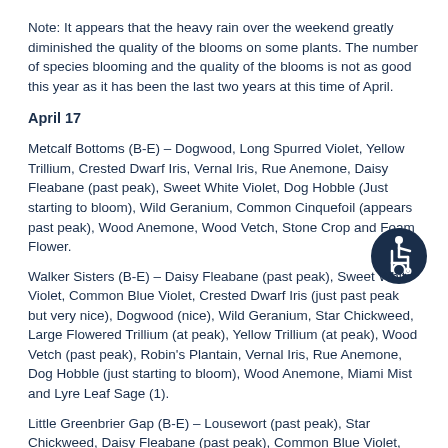Note:  It appears that the heavy rain over the weekend greatly diminished the quality of the blooms on some plants.  The number of species blooming and the quality of the blooms is not as good this year as it has been the last two years at this time of April.
April 17
Metcalf Bottoms (B-E) – Dogwood, Long Spurred Violet, Yellow Trillium, Crested Dwarf Iris, Vernal Iris, Rue Anemone, Daisy Fleabane (past peak), Sweet White Violet, Dog Hobble (Just starting to bloom), Wild Geranium, Common Cinquefoil (appears past peak), Wood Anemone, Wood Vetch, Stone Crop and Foam Flower.
Walker Sisters (B-E) – Daisy Fleabane (past peak), Sweet White Violet, Common Blue Violet, Crested Dwarf Iris (just past peak but very nice), Dogwood (nice), Wild Geranium, Star Chickweed, Large Flowered Trillium (at peak), Yellow Trillium (at peak), Wood Vetch (past peak), Robin's Plantain, Vernal Iris, Rue Anemone, Dog Hobble (just starting to bloom), Wood Anemone, Miami Mist and Lyre Leaf Sage (1).
Little Greenbrier Gap (B-E) – Lousewort (past peak),  Star Chickweed, Daisy Fleabane (past peak), Common Blue Violet, Dogwood, Star Grass (at peak), Crested Dwarf Iris, Yellow Trillium (really nice – at peak), Wood Anemone and Common Cinquefoil (past peak).